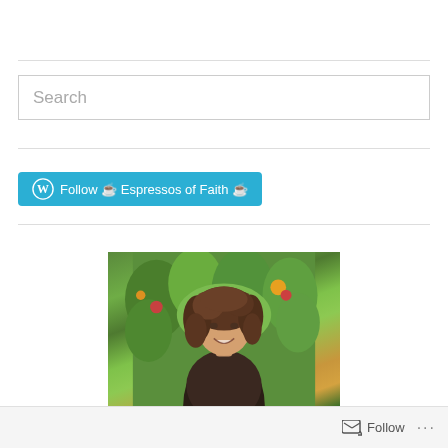Search
[Figure (illustration): Follow button for 'Espressos of Faith' blog with WordPress logo icon, teal/blue background]
[Figure (photo): A woman with curly brown hair smiling, photographed outdoors in front of green leafy plants and colorful flowers]
Follow  ...